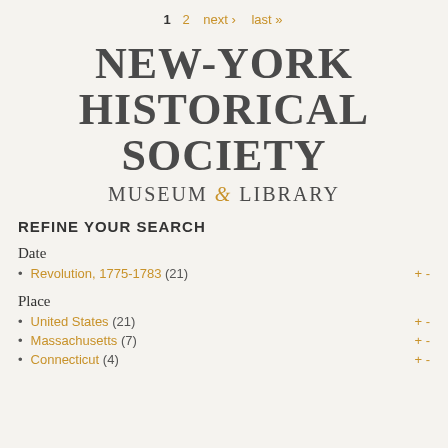1  2  next ›  last »
[Figure (logo): New-York Historical Society Museum & Library logo with large serif text]
REFINE YOUR SEARCH
Date
Revolution, 1775-1783 (21)  + -
Place
United States (21)  + -
Massachusetts (7)  + -
Connecticut (4)  + -